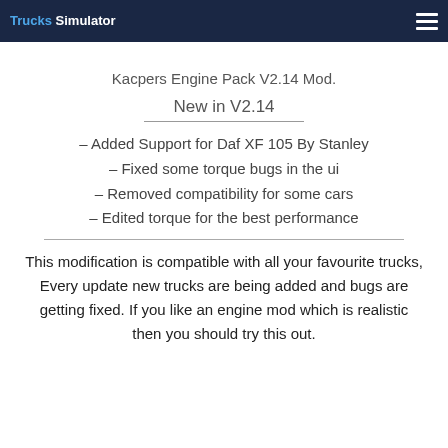Trucks Simulator
Kacpers Engine Pack V2.14 Mod.
New in V2.14
– Added Support for Daf XF 105 By Stanley
– Fixed some torque bugs in the ui
– Removed compatibility for some cars
– Edited torque for the best performance
This modification is compatible with all your favourite trucks, Every update new trucks are being added and bugs are getting fixed. If you like an engine mod which is realistic then you should try this out.